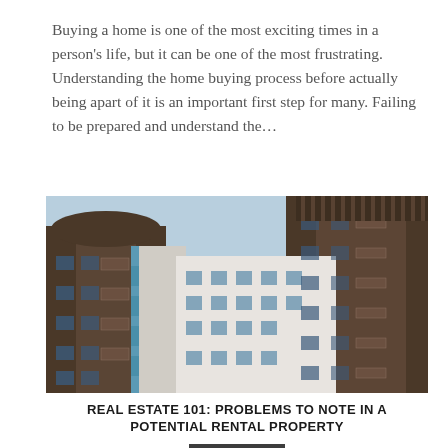Buying a home is one of the most exciting times in a person's life, but it can be one of the most frustrating. Understanding the home buying process before actually being apart of it is an important first step for many. Failing to be prepared and understand the...
[Figure (photo): Photograph looking up at modern residential apartment buildings with brown wooden balcony railings and blue-accented facades against a light blue sky.]
REAL ESTATE 101: PROBLEMS TO NOTE IN A POTENTIAL RENTAL PROPERTY
ZVI FEINER
Real Estate 101: Problems to Note in a